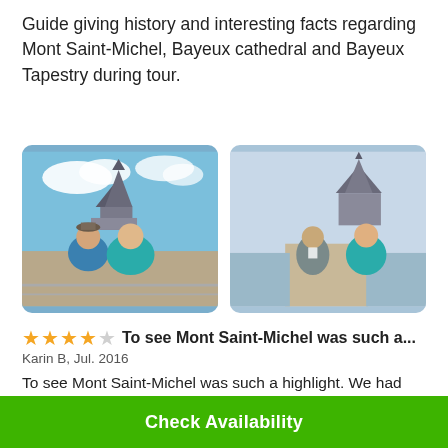Guide giving history and interesting facts regarding Mont Saint-Michel, Bayeux cathedral and Bayeux Tapestry during tour.
[Figure (photo): Two tourists posing in front of Mont Saint-Michel with blue sky and clouds in the background. A man in a blue jacket and a woman in a teal jacket smiling at the camera.]
[Figure (photo): A tour guide with a lanyard badge and two tourists, one in a teal jacket, posing on a causeway walkway with Mont Saint-Michel visible in the background.]
⭐⭐⭐⭐☆ To see Mont Saint-Michel was such a...
Karin B, Jul. 2016
To see Mont Saint-Michel was such a highlight. We had
Check Availability